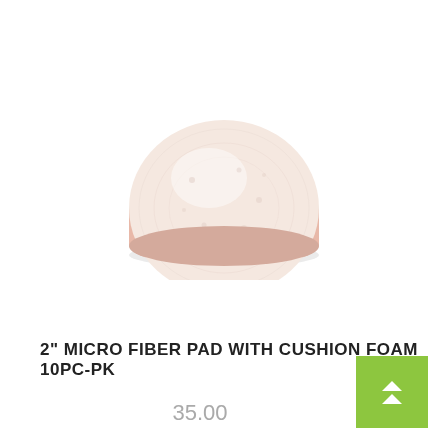[Figure (photo): A round white/pale pink microfiber polishing pad with cushion foam backing, viewed from slightly above, showing fluffy textured top surface and pink foam edge/base.]
2" MICRO FIBER PAD WITH CUSHION FOAM 10PC-PK
35.00